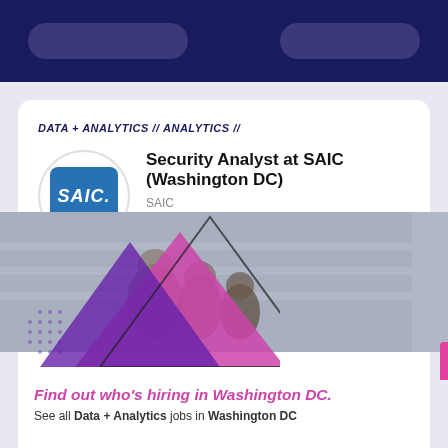DATA + ANALYTICS // ANALYTICS //
Security Analyst at SAIC (Washington DC)
SAIC
WASHINGTON DC
Sorry, this job was removed at 12:36 p.m. (CST) on Friday, April 29, 2022
[Figure (photo): People working together, with decorative purple/magenta triangles overlay]
Find out who's hiring in Washington DC.
See all Data + Analytics jobs in Washington DC